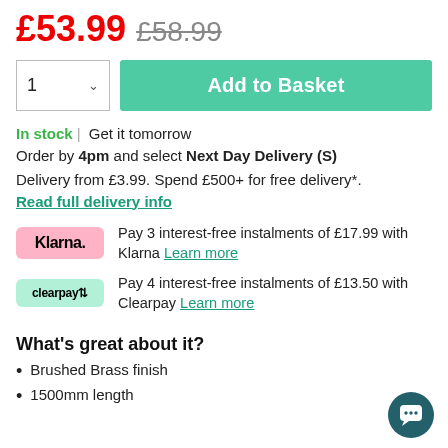£53.99 £58.99
1 ∨  Add to Basket
In stock | Get it tomorrow
Order by 4pm and select Next Day Delivery (S)
Delivery from £3.99. Spend £500+ for free delivery*.
Read full delivery info
Pay 3 interest-free instalments of £17.99 with Klarna Learn more
Pay 4 interest-free instalments of £13.50 with Clearpay Learn more
What's great about it?
Brushed Brass finish
1500mm length